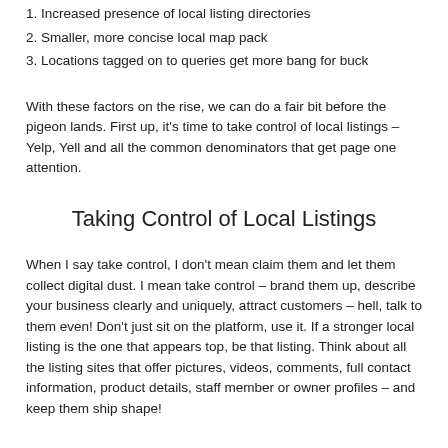1. Increased presence of local listing directories
2. Smaller, more concise local map pack
3. Locations tagged on to queries get more bang for buck
With these factors on the rise, we can do a fair bit before the pigeon lands. First up, it's time to take control of local listings – Yelp, Yell and all the common denominators that get page one attention.
Taking Control of Local Listings
When I say take control, I don't mean claim them and let them collect digital dust. I mean take control – brand them up, describe your business clearly and uniquely, attract customers – hell, talk to them even! Don't just sit on the platform, use it. If a stronger local listing is the one that appears top, be that listing. Think about all the listing sites that offer pictures, videos, comments, full contact information, product details, staff member or owner profiles – and keep them ship shape!
Handling a Smaller Local Pack
The smaller average local pack is much harder to address, as we don't have control over it. There isn't much we can do, but if you're in